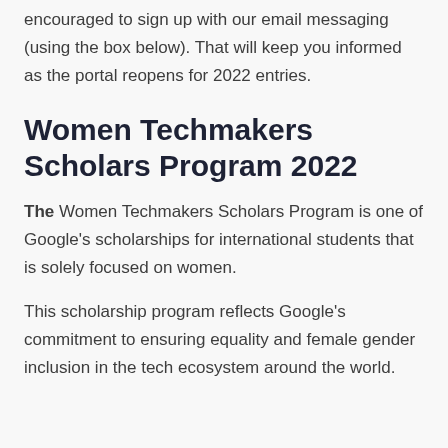encouraged to sign up with our email messaging (using the box below). That will keep you informed as the portal reopens for 2022 entries.
Women Techmakers Scholars Program 2022
The Women Techmakers Scholars Program is one of Google's scholarships for international students that is solely focused on women.
This scholarship program reflects Google's commitment to ensuring equality and female gender inclusion in the tech ecosystem around the world.